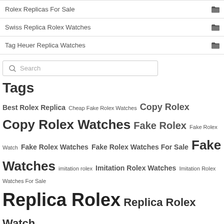Rolex Replicas For Sale
Swiss Replica Rolex Watches
Tag Heuer Replica Watches
Search
Tags
Best Rolex Replica Cheap Fake Rolex Watches Copy Rolex Copy Rolex Watches Fake Rolex Fake Rolex Watch Fake Rolex Watches Fake Rolex Watches For Sale Fake Watches imitation rolex Imitation Rolex Watches Imitation Rolex Watches For Sale Replica Rolex Replica Rolex Watch Replica Rolex Watches Replica Rolex Watches For Sale replicas Omega Replicas Rolex watches replicas Tag Heuer replica watches